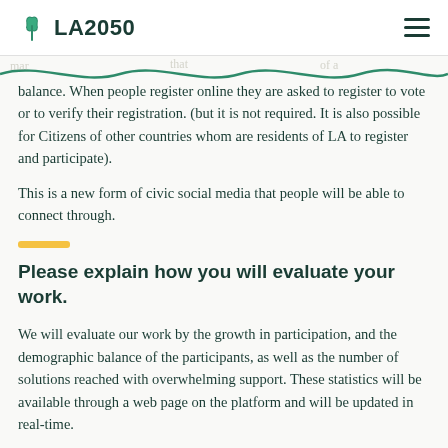LA2050
balance. When people register online they are asked to register to vote or to verify their registration. (but it is not required. It is also possible for Citizens of other countries whom are residents of LA to register and participate).
This is a new form of civic social media that people will be able to connect through.
Please explain how you will evaluate your work.
We will evaluate our work by the growth in participation, and the demographic balance of the participants, as well as the number of solutions reached with overwhelming support. These statistics will be available through a web page on the platform and will be updated in real-time.